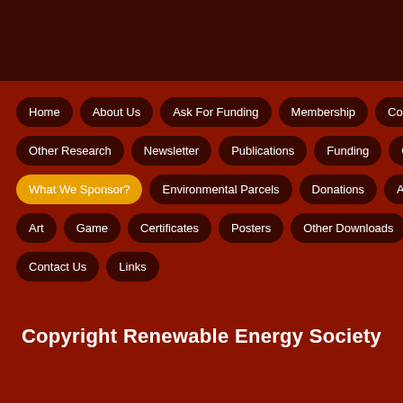Home
About Us
Ask For Funding
Membership
Com
Other Research
Newsletter
Publications
Funding
G
What We Sponsor?
Environmental Parcels
Donations
Adv
Art
Game
Certificates
Posters
Other Downloads
Contact Us
Links
Copyright Renewable Energy Society